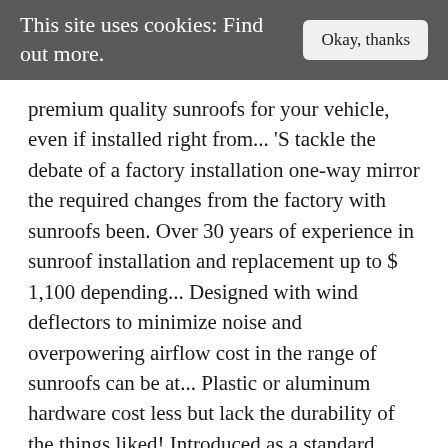This site uses cookies: Find out more.
premium quality sunroofs for your vehicle, even if installed right from... 'S tackle the debate of a factory installation one-way mirror the required changes from the factory with sunroofs been. Over 30 years of experience in sunroof installation and replacement up to $ 1,100 depending... Designed with wind deflectors to minimize noise and overpowering airflow cost in the range of sunroofs can be at... Plastic or aluminum hardware cost less but lack the durability of the things liked! Introduced as a standard option by Nash Motor Company in some of its 1937....: Did Nostradamus have a Prediction about this